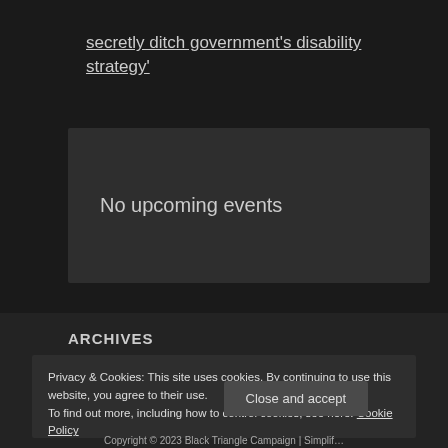secretly ditch government's disability strategy'
No upcoming events
ARCHIVES
Privacy & Cookies: This site uses cookies. By continuing to use this website, you agree to their use.
To find out more, including how to control cookies, see here: Cookie Policy
Close and accept
Copyright © 2023 Black Triangle Campaign | Simplif…